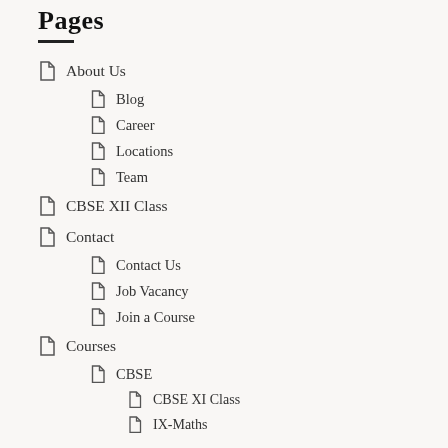Pages
About Us
Blog
Career
Locations
Team
CBSE XII Class
Contact
Contact Us
Job Vacancy
Join a Course
Courses
CBSE
CBSE XI Class
IX-Maths